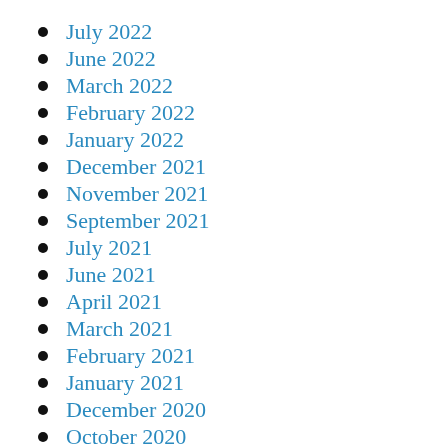July 2022
June 2022
March 2022
February 2022
January 2022
December 2021
November 2021
September 2021
July 2021
June 2021
April 2021
March 2021
February 2021
January 2021
December 2020
October 2020